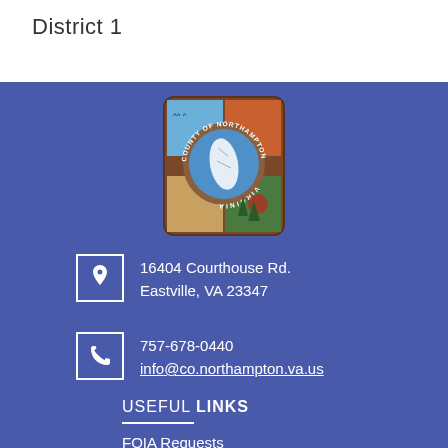District 1
[Figure (logo): Seal/logo of County of Northampton, Virginia — circular emblem with blue background, map of the county in white, surrounded by nature scenes, brown border, text reads COUNTY OF NORTHAMPTON VIRGINIA]
16404 Courthouse Rd.
Eastville, VA 23347
757-678-0440
info@co.northampton.va.us
USEFUL LINKS
FOIA Requests